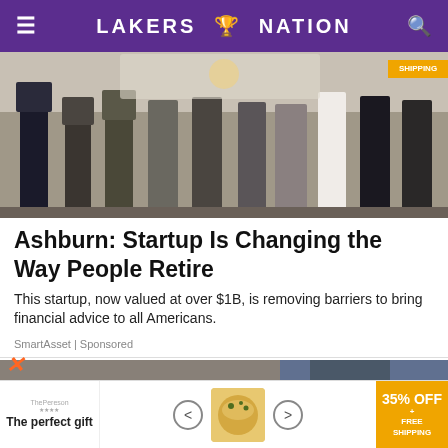LAKERS NATION
[Figure (photo): Group of people standing together, partial view of legs and torsos, with a shipping badge overlay in the top right corner]
Ashburn: Startup Is Changing the Way People Retire
This startup, now valued at over $1B, is removing barriers to bring financial advice to all Americans.
SmartAsset | Sponsored
[Figure (photo): Close-up of a person wearing a smartwatch and blue gloves working near concrete/stone, with a brown shoe visible]
[Figure (infographic): Bottom advertisement banner: The perfect gift - 35% OFF + FREE SHIPPING with product navigation arrows and food product image]